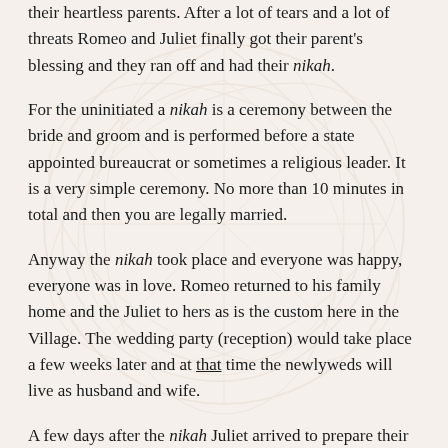their heartless parents. After a lot of tears and a lot of threats Romeo and Juliet finally got their parent's blessing and they ran off and had their nikah.
For the uninitiated a nikah is a ceremony between the bride and groom and is performed before a state appointed bureaucrat or sometimes a religious leader. It is a very simple ceremony. No more than 10 minutes in total and then you are legally married.
Anyway the nikah took place and everyone was happy, everyone was in love. Romeo returned to his family home and the Juliet to hers as is the custom here in the Village. The wedding party (reception) would take place a few weeks later and at that time the newlyweds will live as husband and wife.
A few days after the nikah Juliet arrived to prepare their home. They built right next door to us – and when I say right